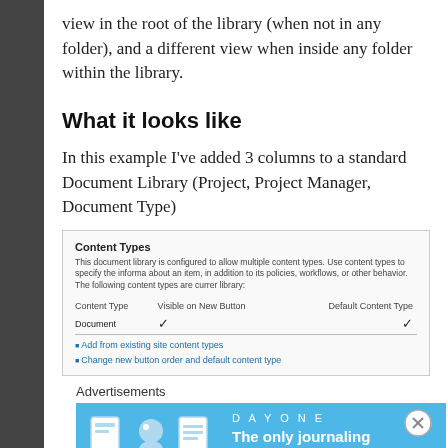view in the root of the library (when not in any folder), and a different view when inside any folder within the library.
What it looks like
In this example I've added 3 columns to a standard Document Library (Project, Project Manager, Document Type)
[Figure (screenshot): SharePoint Document Library Content Types settings panel showing Content Type column, Visible on New Button column, Default Content Type column, with Document row having checkmarks, and links to add/change content types.]
Advertisements
[Figure (other): Day One journaling app advertisement banner with blue background, app icons, and tagline: The only journaling app you'll ever need.]